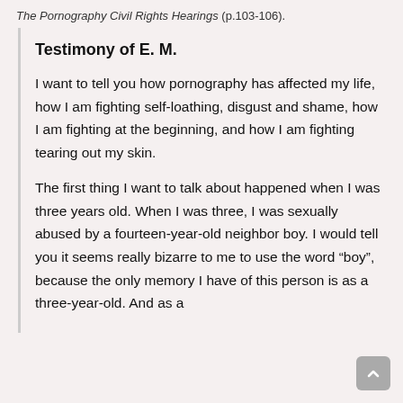The Pornography Civil Rights Hearings (p.103-106).
Testimony of E. M.
I want to tell you how pornography has affected my life, how I am fighting self-loathing, disgust and shame, how I am fighting at the beginning, and how I am fighting tearing out my skin.
The first thing I want to talk about happened when I was three years old. When I was three, I was sexually abused by a fourteen-year-old neighbor boy. I would tell you it seems really bizarre to me to use the word “boy”, because the only memory I have of this person is as a three-year-old. And as a